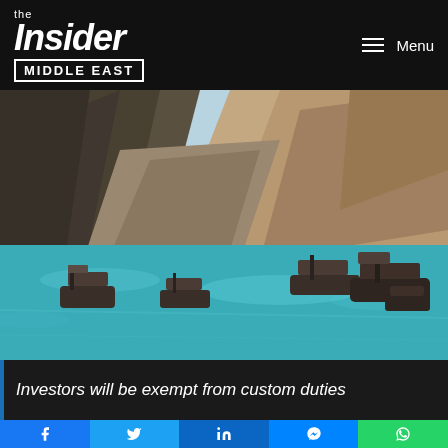the Insider MIDDLE EAST
[Figure (photo): Aerial view of a mountain fjord/bay with turquoise water, rocky cliffs, and several wooden dhow boats floating on the water. Sandy beach visible in the background. Likely Oman (Musandam region).]
Investors will be exempt from custom duties